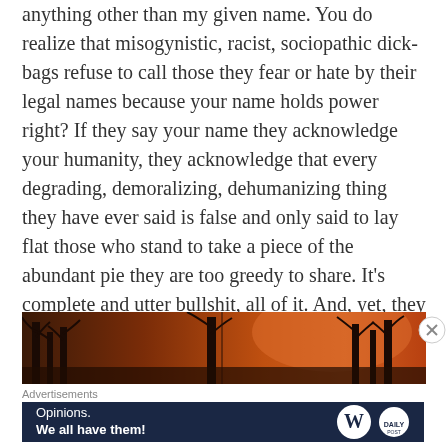anything other than my given name. You do realize that misogynistic, racist, sociopathic dick-bags refuse to call those they fear or hate by their legal names because your name holds power right? If they say your name they acknowledge your humanity, they acknowledge that every degrading, demoralizing, dehumanizing thing they have ever said is false and only said to lay flat those who stand to take a piece of the abundant pie they are too greedy to share. It's complete and utter bullshit, all of it. And, yet, they are allowed to march on with little to no resistance. WAKE UP WORLD! You are on fire.
[Figure (photo): Dark reddish-orange sky with silhouettes of trees, suggesting a fire or dramatic sunset scene]
Advertisements
[Figure (other): Advertisement banner: dark navy background with text 'Opinions. We all have them!' and WordPress and Daily Post logos]